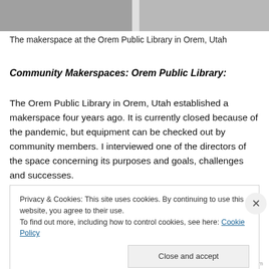[Figure (photo): Photo strip showing the makerspace at the Orem Public Library in Orem, Utah — two side-by-side images of the space with equipment and work tables.]
The makerspace at the Orem Public Library in Orem, Utah
Community Makerspaces: Orem Public Library:
The Orem Public Library in Orem, Utah established a makerspace four years ago. It is currently closed because of the pandemic, but equipment can be checked out by community members. I interviewed one of the directors of the space concerning its purposes and goals, challenges and successes.
Privacy & Cookies: This site uses cookies. By continuing to use this website, you agree to their use.
To find out more, including how to control cookies, see here: Cookie Policy
Close and accept